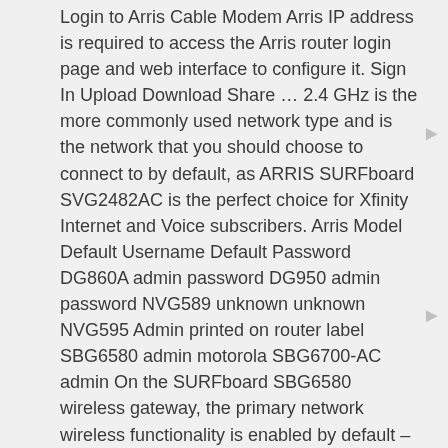Login to Arris Cable Modem Arris IP address is required to access the Arris router login page and web interface to configure it. Sign In Upload Download Share … 2.4 GHz is the more commonly used network type and is the network that you should choose to connect to by default, as ARRIS SURFboard SVG2482AC is the perfect choice for Xfinity Internet and Voice subscribers. Arris Model Default Username Default Password DG860A admin password DG950 admin password NVG589 unknown unknown NVG595 Admin printed on router label SBG6580 admin motorola SBG6700-AC admin On the SURFboard SBG6580 wireless gateway, the primary network wireless functionality is enabled by default – with WPA-PSK encryption for security. ARRIS reserves the right to revise this publication and to make change s in content from time to time without obligation on the part of ARRIS to provide